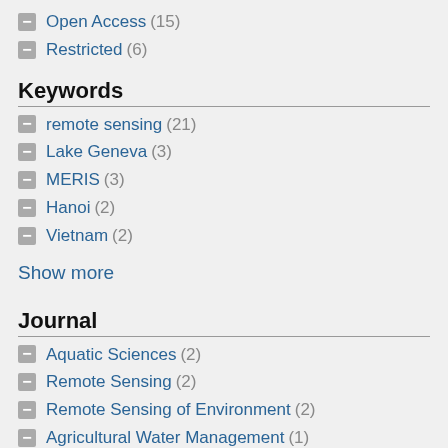Open Access (15)
Restricted (6)
Keywords
remote sensing (21)
Lake Geneva (3)
MERIS (3)
Hanoi (2)
Vietnam (2)
Show more
Journal
Aquatic Sciences (2)
Remote Sensing (2)
Remote Sensing of Environment (2)
Agricultural Water Management (1)
Ecological Applications (1)